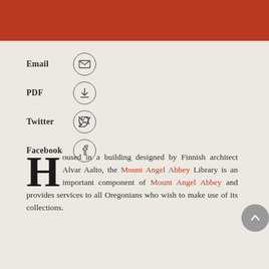[Figure (other): Red/terracotta colored header bar at top of page]
Email [email icon]
PDF [download icon]
Twitter [twitter icon]
Facebook [facebook icon]
Housed in a building designed by Finnish architect Alvar Aalto, the Mount Angel Abbey Library is an important component of Mount Angel Abbey and provides services to all Oregonians who wish to make use of its collections.